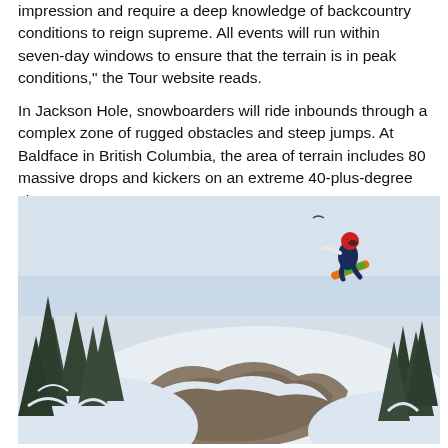impression and require a deep knowledge of backcountry conditions to reign supreme. All events will run within seven-day windows to ensure that the terrain is in peak conditions," the Tour website reads.
In Jackson Hole, snowboarders will ride inbounds through a complex zone of rugged obstacles and steep jumps. At Baldface in British Columbia, the area of terrain includes 80 massive drops and kickers on an extreme 40-plus-degree slope.
[Figure (photo): A snowboarder catches big air off a rocky cliff drop surrounded by snow-covered pine trees in a winter mountain scene. The snowboarder is airborne in the upper right area of the image with a colorful board visible.]